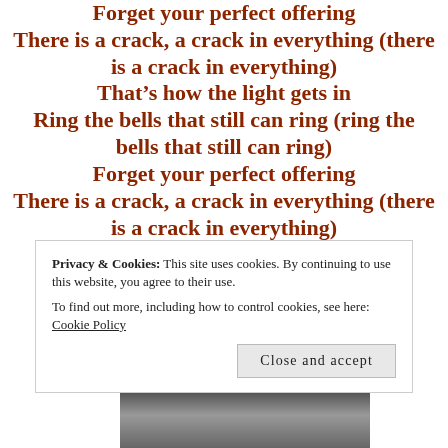Forget your perfect offering
There is a crack, a crack in everything (there is a crack in everything)
That’s how the light gets in
Ring the bells that still can ring (ring the bells that still can ring)
Forget your perfect offering
There is a crack, a crack in everything (there is a crack in everything)
That’s how the light gets in
That’s how the light gets in
That’s how the light gets in
Privacy & Cookies: This site uses cookies. By continuing to use this website, you agree to their use. To find out more, including how to control cookies, see here: Cookie Policy
[Figure (photo): Black and white photo strip at the bottom of the page]